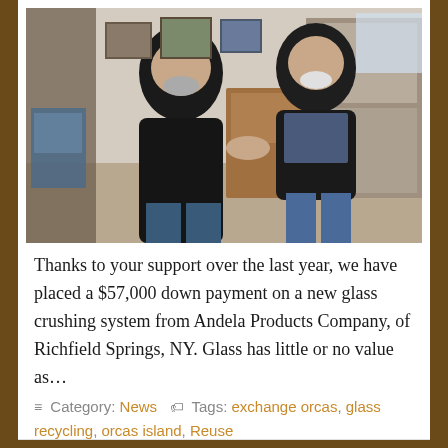[Figure (photo): Two men shaking hands or exchanging a check inside a shop with glass display cases and artwork on the walls. The man on the left wears a dark hoodie, the man on the right wears a black puffer jacket and plaid shirt.]
Thanks to your support over the last year, we have placed a $57,000 down payment on a new glass crushing system from Andela Products Company, of Richfield Springs, NY. Glass has little or no value as…
≡ Category: News  🏷 Tags: exchange orcas, glass recycling, orcas island, Reuse